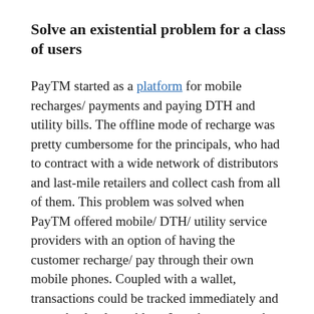Solve an existential problem for a class of users
PayTM started as a platform for mobile recharges/ payments and paying DTH and utility bills. The offline mode of recharge was pretty cumbersome for the principals, who had to contract with a wide network of distributors and last-mile retailers and collect cash from all of them. This problem was solved when PayTM offered mobile/ DTH/ utility service providers with an option of having the customer recharge/ pay through their own mobile phones. Coupled with a wallet, transactions could be tracked immediately and were absolutely cashless. In order to grow the